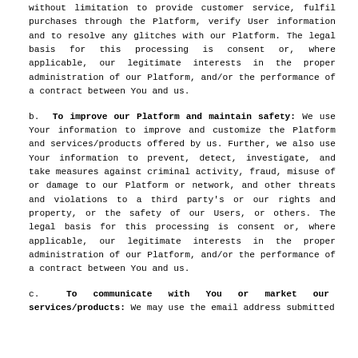without limitation to provide customer service, fulfil purchases through the Platform, verify User information and to resolve any glitches with our Platform. The legal basis for this processing is consent or, where applicable, our legitimate interests in the proper administration of our Platform, and/or the performance of a contract between You and us.
b. To improve our Platform and maintain safety: We use Your information to improve and customize the Platform and services/products offered by us. Further, we also use Your information to prevent, detect, investigate, and take measures against criminal activity, fraud, misuse of or damage to our Platform or network, and other threats and violations to a third party's or our rights and property, or the safety of our Users, or others. The legal basis for this processing is consent or, where applicable, our legitimate interests in the proper administration of our Platform, and/or the performance of a contract between You and us.
c. To communicate with You or market our services/products: We may use the email address submitted